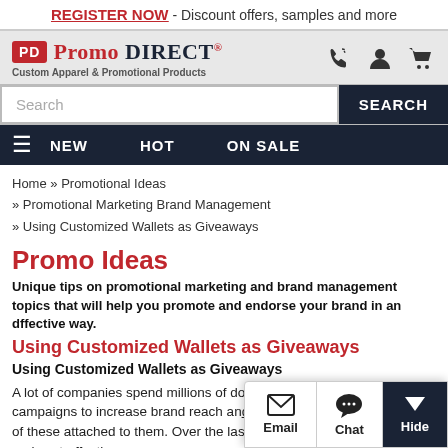REGISTER NOW - Discount offers, samples and more
[Figure (logo): Promo Direct logo with PD box and text, Custom Apparel & Promotional Products tagline, phone/account/cart icons]
Search
NEW   HOT   ON SALE
Home » Promotional Ideas » Promotional Marketing Brand Management » Using Customized Wallets as Giveaways
Promo Ideas
Unique tips on promotional marketing and brand management topics that will help you promote and endorse your brand in an dffective way.
Using Customized Wallets as Giveaways
Using Customized Wallets as Giveaways
A lot of companies spend millions of dollars every year in marketing campaigns to increase brand reach an... opportunities. However, most of these attached to them. Over the last few ye... emerged as a friendly and cost-effecti...
[Figure (screenshot): Chat widget with Email, Chat, and Hide buttons]